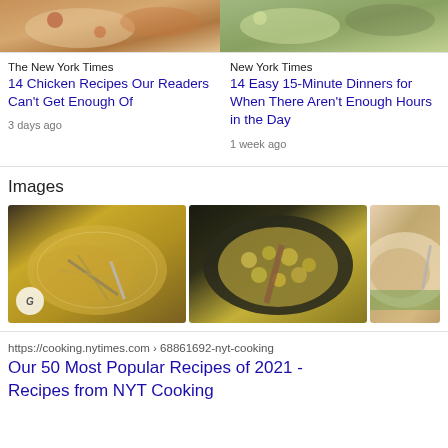[Figure (photo): Food photo top left - chicken/meat dish on plate]
[Figure (photo): Food photo top right - salad/green dish on plate]
The New York Times
14 Chicken Recipes Our Readers Can't Get Enough Of
3 days ago
New York Times
14 Easy 15-Minute Dinners for When There Aren't Enough Hours in the Day
1 week ago
Images
[Figure (photo): Pasta dish - spaghetti with fork on dark background, Getty Images watermark]
[Figure (photo): Pasta/gnocchi dish in dark pan with wooden spoon, overhead view]
[Figure (photo): Pasta dish on white/green plate, partial view]
https://cooking.nytimes.com › 68861692-nyt-cooking
Our 50 Most Popular Recipes of 2021 - Recipes from NYT Cooking